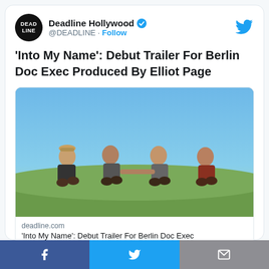Deadline Hollywood @DEADLINE · Follow
'Into My Name': Debut Trailer For Berlin Doc Exec Produced By Elliot Page
[Figure (photo): Four young men sitting on a grassy hill outdoors under a blue sky]
deadline.com
'Into My Name': Debut Trailer For Berlin Doc Exec
f  [twitter bird]  [mail icon]